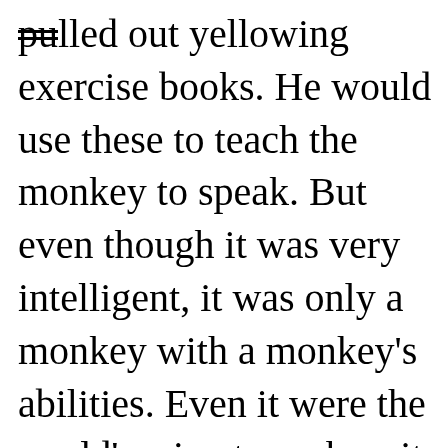pulled out yellowing exercise books. He would use these to teach the monkey to speak. But even though it was very intelligent, it was only a monkey with a monkey's abilities. Even it were the world's wisest monkey, it would never be wiser than a stupid human. Father expended all his energies trying to teach the monkey but despite